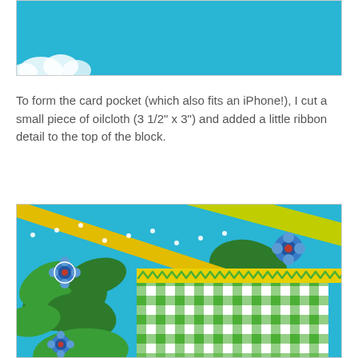[Figure (photo): Top portion of a blue oilcloth fabric with white decorative elements visible at the bottom edge]
To form the card pocket (which also fits an iPhone!), I cut a small piece of oilcloth (3 1/2" x 3") and added a little ribbon detail to the top of the block.
[Figure (photo): Close-up photo of blue floral oilcloth with green and white gingham check pocket, yellow polka-dot ribbon and yellow grosgrain ribbon, with zigzag stitching detail at the top of the pocket]